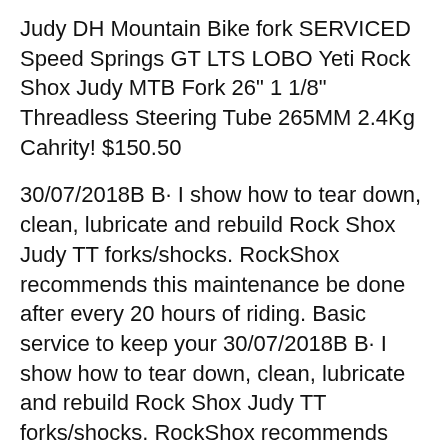Judy DH Mountain Bike fork SERVICED Speed Springs GT LTS LOBO Yeti Rock Shox Judy MTB Fork 26" 1 1/8" Threadless Steering Tube 265MM 2.4Kg Cahrity! $150.50
30/07/2018B B· I show how to tear down, clean, lubricate and rebuild Rock Shox Judy TT forks/shocks. RockShox recommends this maintenance be done after every 20 hours of riding. Basic service to keep your 30/07/2018B B· I show how to tear down, clean, lubricate and rebuild Rock Shox Judy TT forks/shocks. RockShox recommends this maintenance be done after every 20 hours of riding. Basic service to keep your